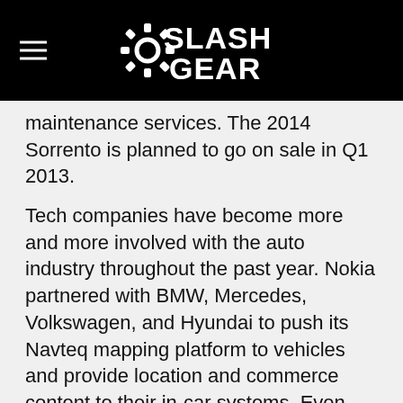SlashGear
maintenance services. The 2014 Sorrento is planned to go on sale in Q1 2013.
Tech companies have become more and more involved with the auto industry throughout the past year. Nokia partnered with BMW, Mercedes, Volkswagen, and Hyundai to push its Navteq mapping platform to vehicles and provide location and commerce content to their in-car systems. Even Apple got in on the fun and partnered with several car makers to bring Siri functionality to their new models, with GM becoming the first company to integrate it into its new Chevrolet vehicles.